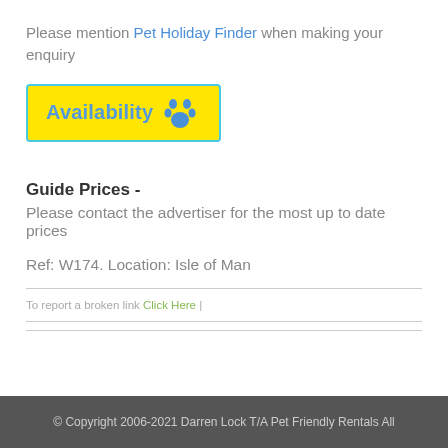Please mention Pet Holiday Finder when making your enquiry
[Figure (other): Yellow button with cyan border showing 'Availability' text in blue with a blue paw print icon]
Guide Prices -
Please contact the advertiser for the most up to date prices
Ref: W174. Location: Isle of Man
To report a broken link Click Here |
© Copyright 2006-2021 Darren Lock T/A Pet Friendly Rentals All